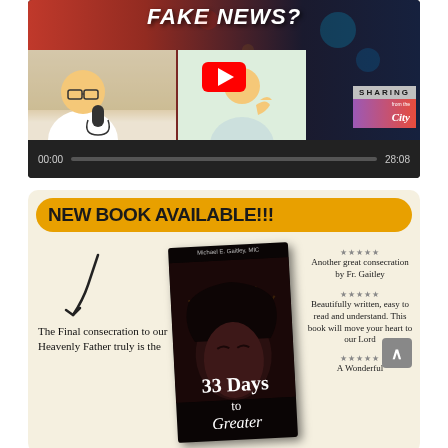[Figure (screenshot): YouTube video thumbnail showing two people with text 'FAKE NEWS?' and 'SHARING from the City' branding, with video progress bar showing 00:00 to 28:08]
NEW BOOK AVAILABLE!!!
[Figure (illustration): Book advertisement for '33 Days to Greater Glory' by Michael E. Gaitley, MIC, showing book cover with crown of thorns image, handwritten annotation 'The Final consecration to our Heavenly Father truly is the', and reader reviews with 5 stars including: 'Another great consecration by Fr. Gaitley', 'Beautifully written, easy to read and understand. This book will move your heart to our Lord', 'A Wonderful']